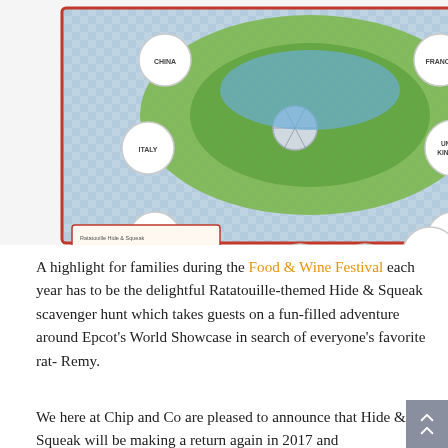[Figure (photo): Photo of a Ratatouille-themed Hide & Squeak scavenger hunt map and sticker booklet. The map shows EPCOT's World Showcase layout illustrated in a picnic-cloth blue and white checkered style with labeled pavilion circles (China, France, Italy, United Kingdom, Canada, Mexico, Morocco, The Art of Nature, Flavors from Fire, Fare East, etc.). A red-bordered sticker booklet with Remy's Ratatouille Hide & Squeak branding shows ingredient/food item stickers like tomato, pepper, eggplant, mushroom, pepper, etc.]
A highlight for families during the Food & Wine Festival each year has to be the delightful Ratatouille-themed Hide & Squeak scavenger hunt which takes guests on a fun-filled adventure around Epcot's World Showcase in search of everyone's favorite rat- Remy.
We here at Chip and Co are pleased to announce that Hide & Squeak will be making a return again in 2017 and